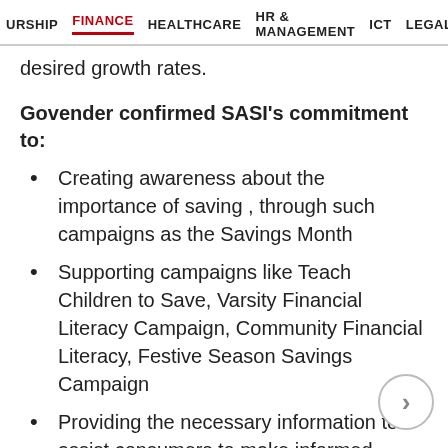URSHIP  FINANCE  HEALTHCARE  HR & MANAGEMENT  ICT  LEGAL
desired growth rates.
Govender confirmed SASI's commitment to:
Creating awareness about the importance of saving , through such campaigns as the Savings Month
Supporting campaigns like Teach Children to Save, Varsity Financial Literacy Campaign, Community Financial Literacy, Festive Season Savings Campaign
Providing the necessary information to assist consumers to make informed decisions for their financial wellbeing.
Govender concluded by providing consumers with a